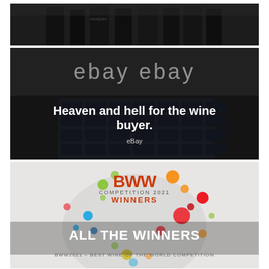[Figure (photo): Black and white photo of dark wine bottles, top portion cropped]
[Figure (photo): Black and white photo of an eBay building exterior at night with 'ebay ebay' signage visible. Overlaid text reads 'Heaven and hell for the wine buyer.' with 'eBay' as a smaller subtitle.]
[Figure (illustration): BWW Competition 2021 Winners promotional image with colorful dots forming a globe shape on light background. Text overlays: 'ALL THE WINNERS' and 'BWW2021 - BEST WINE OF THE WORLD COMPETITION']